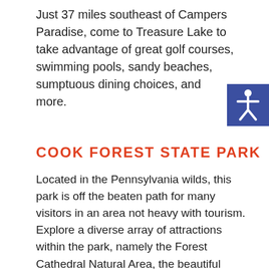Just 37 miles southeast of Campers Paradise, come to Treasure Lake to take advantage of great golf courses, swimming pools, sandy beaches, sumptuous dining choices, and more.
[Figure (illustration): Accessibility icon — white human figure on blue square background]
COOK FOREST STATE PARK
Located in the Pennsylvania wilds, this park is off the beaten path for many visitors in an area not heavy with tourism. Explore a diverse array of attractions within the park, namely the Forest Cathedral Natural Area, the beautiful moss-covered Paved Trail, the Clarion River full of watersport opportunities, the Swinging Bridge, and the North Country National Scenic Trail.